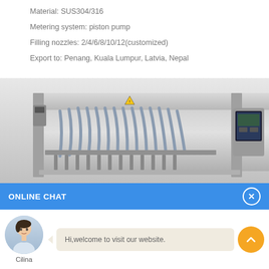Material: SUS304/316
Metering system: piston pump
Filling nozzles: 2/4/6/8/10/12(customized)
Export to: Penang, Kuala Lumpur, Latvia, Nepal
[Figure (photo): Industrial liquid filling machine with multiple piston nozzles, stainless steel construction, with control panel on right side]
ONLINE CHAT
[Figure (photo): Avatar photo of chat agent named Cilina]
Hi,welcome to visit our website.
Cilina